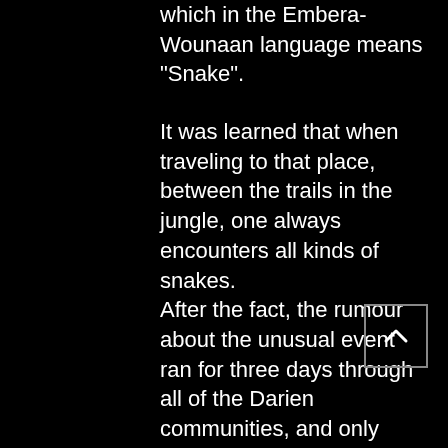which in the Embera-Wounaan language means "Snake".
It was learned that when traveling to that place, between the trails in the jungle, one always encounters all kinds of snakes. After the fact, the rumour about the unusual event ran for three days through all of the Darien communities, and only recently reached the ears of the officers of the State Border Service, a source revealed.
Besides the Indians daily concerns about being attacked by animals, they have the added problem with rebel groups raiding there communities.